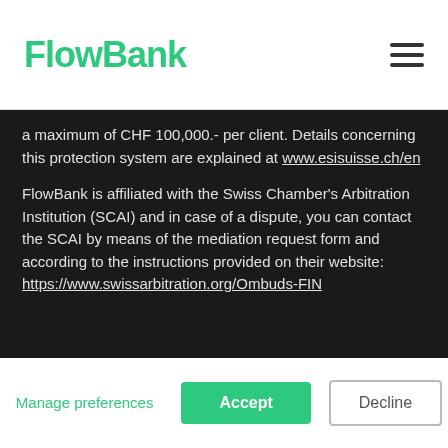FlowBank
a maximum of CHF 100,000.- per client. Details concerning this protection system are explained at www.esisuisse.ch/en
FlowBank is affiliated with the Swiss Chamber's Arbitration Institution (SCAI) and in case of a dispute, you can contact the SCAI by means of the mediation request form and according to the instructions provided on their website: https://www.swissarbitration.org/Ombuds-FIN
We use cookies on our website.
These cookies help us keep our website safe, give you a better experience and show more relevant ads. We won't turn them on unless you accept. Want to know more or adjust your preferences?
Our Cookies policy.